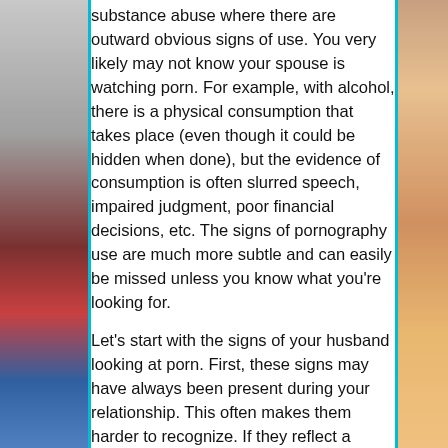[Figure (photo): Left side decorative image strip showing partial face/person, bordered by teal/cyan line]
substance abuse where there are outward obvious signs of use. You very likely may not know your spouse is watching porn. For example, with alcohol, there is a physical consumption that takes place (even though it could be hidden when done), but the evidence of consumption is often slurred speech, impaired judgment, poor financial decisions, etc. The signs of pornography use are much more subtle and can easily be missed unless you know what you're looking for.

Let's start with the signs of your husband looking at porn. First, these signs may have always been present during your relationship. This often makes them harder to recognize. If they reflect a change in behavior, it is often a red flag. In advanced cases of extreme porn addiction, these signs can also point to activities like massage parlors, strip clubs, or affairs. Again, you may not know your husband is visiting
[Figure (photo): Right side decorative image strip showing partial person/skin tones, bordered by teal/cyan line]